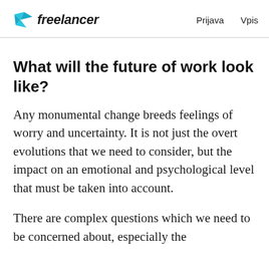freelancer   Prijava   Vpis
What will the future of work look like?
Any monumental change breeds feelings of worry and uncertainty. It is not just the overt evolutions that we need to consider, but the impact on an emotional and psychological level that must be taken into account.
There are complex questions which we need to be concerned about, especially the